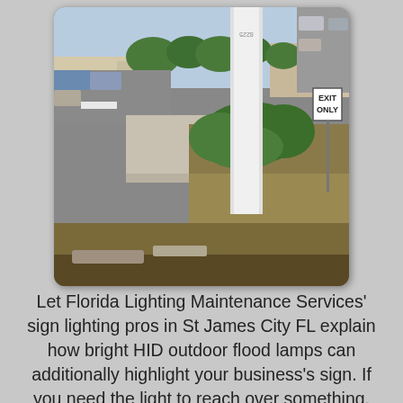[Figure (photo): Outdoor photo showing a street corner with a white rectangular post/pylon sign structure, sidewalk, green shrubs, dry grass lawn area, parked cars in a lot, and an EXIT ONLY sign visible in the upper right. Trees and buildings in the background under a clear sky.]
Let Florida Lighting Maintenance Services' sign lighting pros in St James City FL explain how bright HID outdoor flood lamps can additionally highlight your business's sign. If you need the light to reach over something, then a